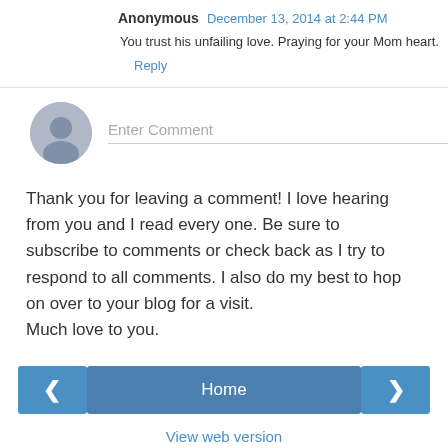Anonymous December 13, 2014 at 2:44 PM
You trust his unfailing love. Praying for your Mom heart.
Reply
[Figure (illustration): Gray avatar circle with silhouette person icon and Enter Comment placeholder text input field]
Thank you for leaving a comment! I love hearing from you and I read every one. Be sure to subscribe to comments or check back as I try to respond to all comments. I also do my best to hop on over to your blog for a visit.
Much love to you.
< Home >
View web version
Powered by Blogger.